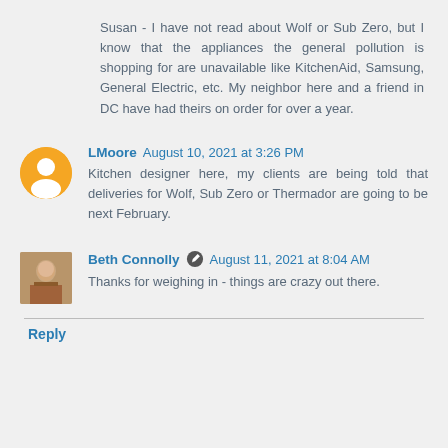Susan - I have not read about Wolf or Sub Zero, but I know that the appliances the general pollution is shopping for are unavailable like KitchenAid, Samsung, General Electric, etc. My neighbor here and a friend in DC have had theirs on order for over a year.
LMoore August 10, 2021 at 3:26 PM
Kitchen designer here, my clients are being told that deliveries for Wolf, Sub Zero or Thermador are going to be next February.
Beth Connolly August 11, 2021 at 8:04 AM
Thanks for weighing in - things are crazy out there.
Reply